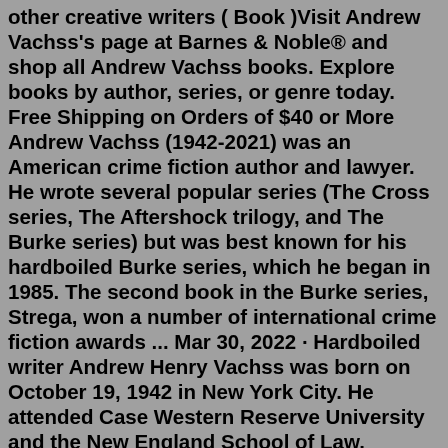other creative writers ( Book )Visit Andrew Vachss's page at Barnes & Noble® and shop all Andrew Vachss books. Explore books by author, series, or genre today. Free Shipping on Orders of $40 or More Andrew Vachss (1942-2021) was an American crime fiction author and lawyer. He wrote several popular series (The Cross series, The Aftershock trilogy, and The Burke series) but was best known for his hardboiled Burke series, which he began in 1985. The second book in the Burke series, Strega, won a number of international crime fiction awards ... Mar 30, 2022 · Hardboiled writer Andrew Henry Vachss was born on October 19, 1942 in New York City. He attended Case Western Reserve University and the New England School of Law. Vachss has worked in many government and law enforcement organizations, ranging from the U. S. Public Health Service to the New York City Juvenile Justice Planning Project. Andrew Vachss in 2011. Andrew Vachss, an activist, novelist, essayist and comic book